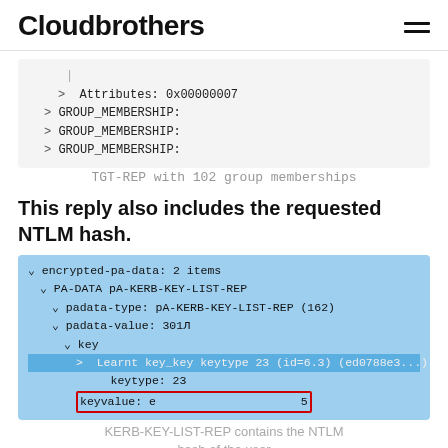Cloudbrothers
[Figure (screenshot): Code block showing Attributes: 0x00000007 and GROUP_MEMBERSHIP entries in a tree view]
TGT-REP with 102 group memberships
This reply also includes the requested NTLM hash.
[Figure (screenshot): Wireshark-style code block showing encrypted-pa-data with PA-DATA pA-KERB-KEY-LIST-REP, padata-type, padata-value, key, Learnt key, keytype: 23, keyvalue: e ... 5, highlighted in blue with red box around keyvalue row]
KERB-KEY-LIST-REP contains the NTLM hash of the user
This ticket is encrypted by: